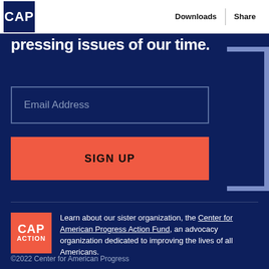CAP | Downloads | Share
pressing issues of our time.
Email Address
SIGN UP
Learn about our sister organization, the Center for American Progress Action Fund, an advocacy organization dedicated to improving the lives of all Americans.
©2022 Center for American Progress